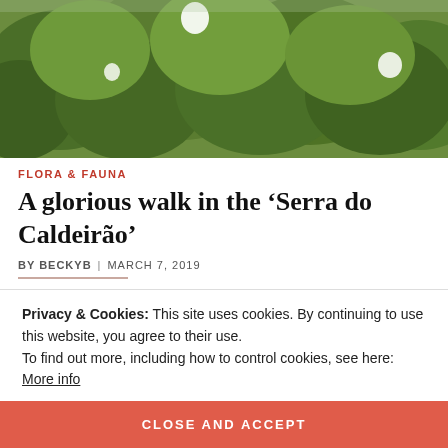[Figure (photo): Lush green vegetation and shrubs with white flowers, outdoor nature scene]
FLORA & FAUNA
A glorious walk in the ‘Serra do Calderão’
BY BECKYB | MARCH 7, 2019
Fabulous views, wonderful flora and if you are lucky a paddle too!
Privacy & Cookies: This site uses cookies. By continuing to use this website, you agree to their use.
To find out more, including how to control cookies, see here: More info
CLOSE AND ACCEPT